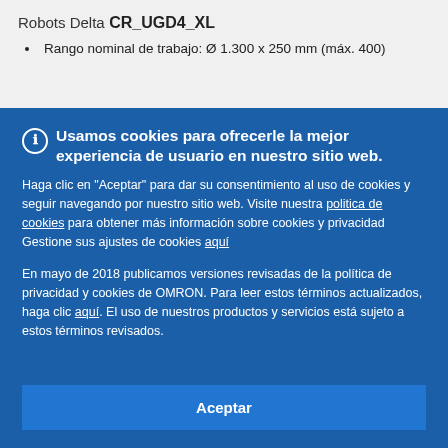Robots Delta
CR_UGD4_XL
Rango nominal de trabajo: Ø 1.300 x 250 mm (máx. 400)
Usamos cookies para ofrecerle la mejor experiencia de usuario en nuestro sitio web.
Haga clic en "Aceptar" para dar su consentimiento al uso de cookies y seguir navegando por nuestro sitio web. Visite nuestra politica de cookies para obtener más información sobre cookies y privacidad
Gestione sus ajustes de cookies aquí
En mayo de 2018 publicamos versiones revisadas de la política de privacidad y cookies de OMRON. Para leer estos términos actualizados, haga clic aquí. El uso de nuestros productos y servicios está sujeto a estos términos revisados.
Aceptar